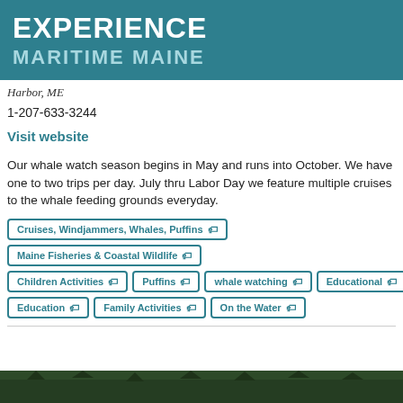EXPERIENCE MARITIME MAINE
Harbor, ME
1-207-633-3244
Visit website
Our whale watch season begins in May and runs into October. We have one to two trips per day. July thru Labor Day we feature multiple cruises to the whale feeding grounds everyday.
Cruises, Windjammers, Whales, Puffins
Maine Fisheries & Coastal Wildlife
Children Activities
Puffins
whale watching
Educational
Education
Family Activities
On the Water
[Figure (photo): Dark green treeline/forest at the bottom of the page]